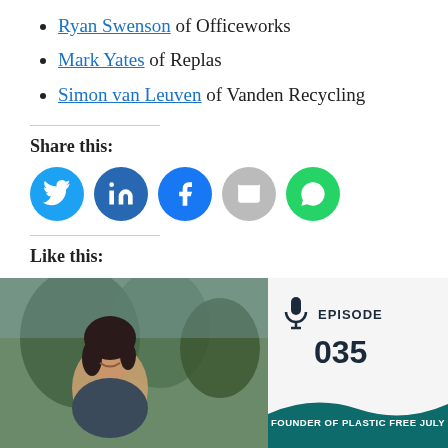Ryan Swenson of Officeworks
Mark Yates of Replas
Simon van Leuven of Vanden Recycling
Share this:
[Figure (infographic): Social share buttons: Twitter, LinkedIn, Facebook, Email, WhatsApp]
Like this:
Loading...
[Figure (photo): Bottom card showing a woman outdoors with trees, Episode 035, Founder of Plastic Free July]